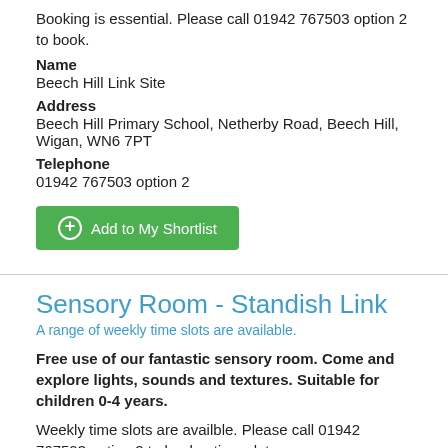Booking is essential. Please call 01942 767503 option 2 to book.
Name
Beech Hill Link Site
Address
Beech Hill Primary School, Netherby Road, Beech Hill, Wigan, WN6 7PT
Telephone
01942 767503 option 2
Add to My Shortlist
Sensory Room - Standish Link
A range of weekly time slots are available.
Free use of our fantastic sensory room. Come and explore lights, sounds and textures. Suitable for children 0-4 years.
Weekly time slots are availble. Please call 01942 767503 option 2 to book a time slot.
Name
Standish Link Site
Address